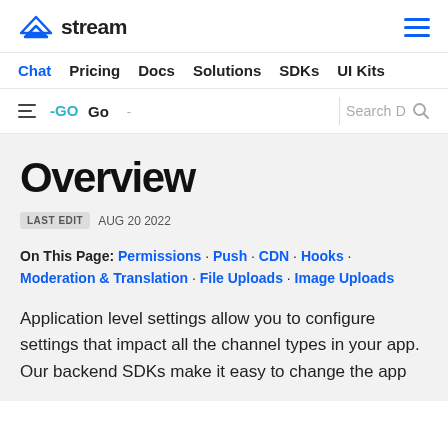stream — navigation: Chat, Pricing, Docs, Solutions, SDKs, UI Kits
Go SDK — Search D
Overview
LAST EDIT  AUG 20 2022
On This Page: Permissions · Push · CDN · Hooks · Moderation & Translation · File Uploads · Image Uploads
Application level settings allow you to configure settings that impact all the channel types in your app. Our backend SDKs make it easy to change the app